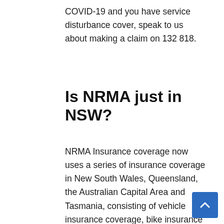COVID-19 and you have service disturbance cover, speak to us about making a claim on 132 818.
Is NRMA just in NSW?
NRMA Insurance coverage now uses a series of insurance coverage in New South Wales, Queensland, the Australian Capital Area and Tasmania, consisting of vehicle insurance coverage, bike insurance coverage, house insurance coverage, service insurance coverage, travel insurance coverage, boat insurance coverage, caravan insurance coverage and life insurance coverage, property owner insurance coverage, earnings defense